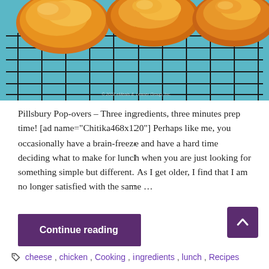[Figure (photo): Golden baked cheese popovers cooling on a black wire rack against a teal/blue background. Watermark text visible at bottom right of photo.]
Pillsbury Pop-overs – Three ingredients, three minutes prep time! [ad name="Chitika468x120"] Perhaps like me, you occasionally have a brain-freeze and have a hard time deciding what to make for lunch when you are just looking for something simple but different. As I get older, I find that I am no longer satisfied with the same …
Continue reading
cheese, chicken, Cooking, ingredients, lunch, Recipes